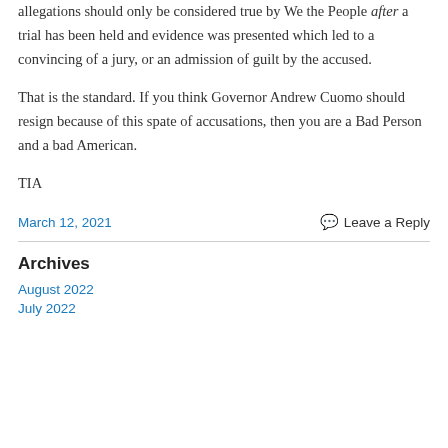allegations should only be considered true by We the People after a trial has been held and evidence was presented which led to a convincing of a jury, or an admission of guilt by the accused.
That is the standard. If you think Governor Andrew Cuomo should resign because of this spate of accusations, then you are a Bad Person and a bad American.
TIA
March 12, 2021
Leave a Reply
Archives
August 2022
July 2022